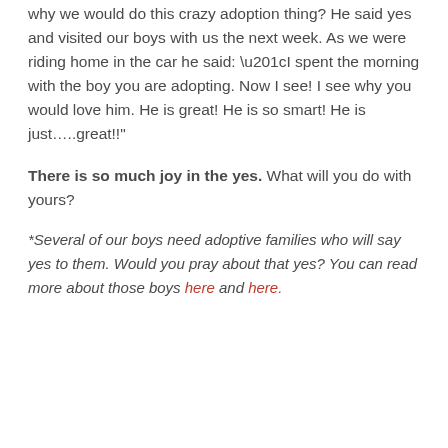why we would do this crazy adoption thing?  He said yes and visited our boys with us the next week.  As we were riding home in the car he said: “I spent the morning with the boy you are adopting.  Now I see!  I see why you would love him.  He is great!  He is so smart!  He is just…..great!!”
There is so much joy in the yes.  What will you do with yours?
*Several of our boys need adoptive families who will say yes to them.  Would you pray about that yes?  You can read more about those boys here and here.